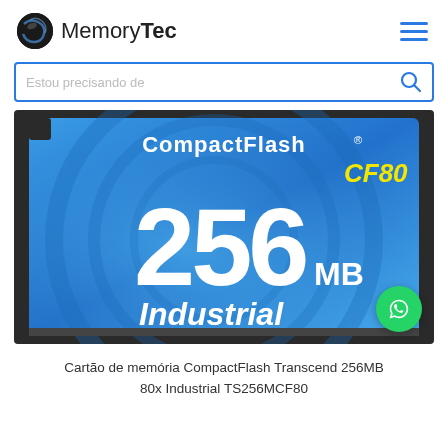MemoryTec
Estou precisando de
[Figure (photo): CompactFlash CF80 256MB Industrial memory card by Transcend, shown on a blue background with large white 256MB text and yellow CF80 label]
Cartão de memória CompactFlash Transcend 256MB 80x Industrial TS256MCF80